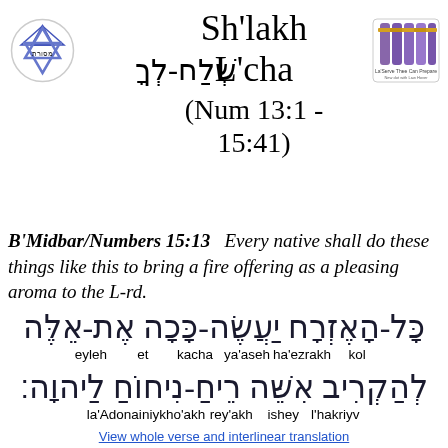Sh'lakh L'cha (Num 13:1 - 15:41)
[Figure (logo): Star of David logo on left]
[Figure (logo): Torah scrolls logo on right]
שְׁלַח-לְךָ
B'Midbar/Numbers 15:13   Every native shall do these things like this to bring a fire offering as a pleasing aroma to the L-rd.
[Figure (other): Hebrew text: כָּל-הָאֶזְרָח יַעֲשֶׂה-כָּכָה אֶת-אֵלֶּה with transliteration: eyleh et kacha ya'aseh ha'ezrakh kol and second line לְהַקְרִיב אִשֵּׁה רֵיחַ-נִיחוֹחַ לַיהוָה with transliteration: la'Adonai niykho'akh rey'akh ishey l'hakriyv]
View whole verse and interlinear translation